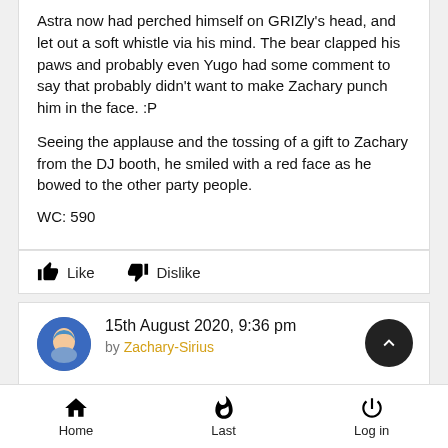Astra now had perched himself on GRIZly's head, and let out a soft whistle via his mind. The bear clapped his paws and probably even Yugo had some comment to say that probably didn't want to make Zachary punch him in the face. :P

Seeing the applause and the tossing of a gift to Zachary from the DJ booth, he smiled with a red face as he bowed to the other party people.
WC: 590
Like   Dislike
15th August 2020, 9:36 pm
by Zachary-Sirius
(Writing since partner has gone MIA)
Home   Last   Log in